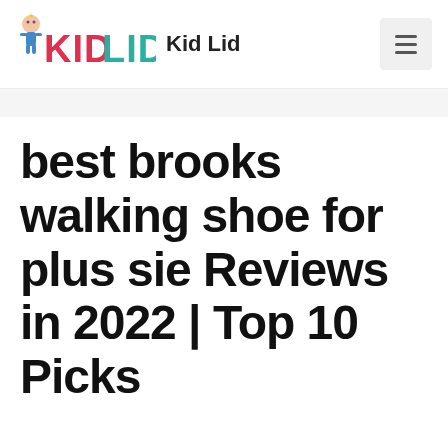KIDLID Kid Lid
best brooks walking shoe for plus sie Reviews in 2022 | Top 10 Picks